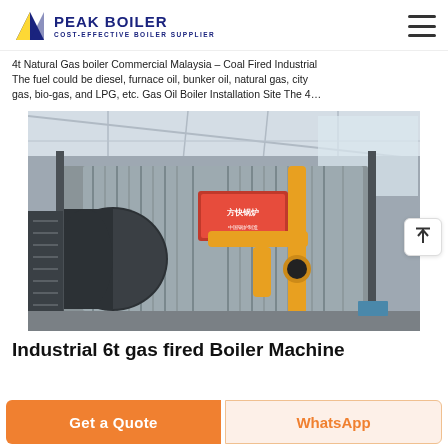PEAK BOILER — COST-EFFECTIVE BOILER SUPPLIER
4t Natural Gas boiler Commercial Malaysia – Coal Fired Industrial The fuel could be diesel, furnace oil, bunker oil, natural gas, city gas, bio-gas, and LPG, etc. Gas Oil Boiler Installation Site The 4…
[Figure (photo): Industrial gas-fired boiler installation in a factory setting — large horizontal boiler unit with yellow gas pipework, metal enclosure with corrugated panels, staircase access, inside an industrial workshop with steel roof trusses.]
Industrial 6t gas fired Boiler Machine
Get a Quote
WhatsApp